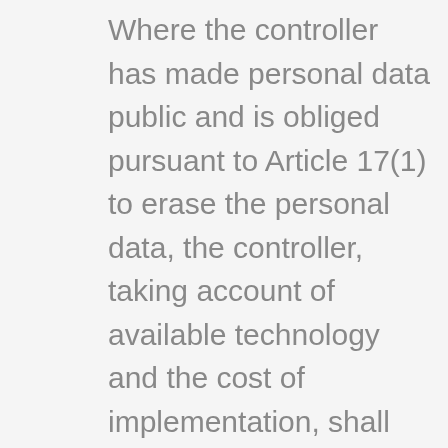Where the controller has made personal data public and is obliged pursuant to Article 17(1) to erase the personal data, the controller, taking account of available technology and the cost of implementation, shall take reasonable steps, including technical measures, to inform other controllers processing the personal data that the data subject has requested erasure by such controllers of any links to, or copy or replication of, those personal data, as far as processing is not required. An employees of Kummer EcoConsult will arrange the necessary measures in individual cases.